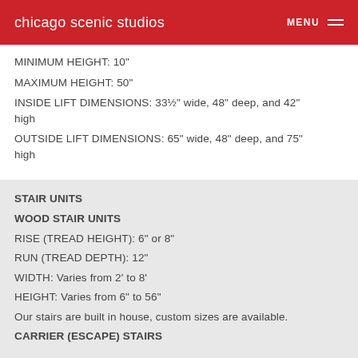chicago scenic studios  MENU
MINIMUM HEIGHT: 10"
MAXIMUM HEIGHT: 50"
INSIDE LIFT DIMENSIONS: 33½" wide, 48" deep, and 42" high
OUTSIDE LIFT DIMENSIONS: 65" wide, 48" deep, and 75" high
STAIR UNITS
WOOD STAIR UNITS
RISE (TREAD HEIGHT): 6" or 8"
RUN (TREAD DEPTH): 12"
WIDTH: Varies from 2' to 8'
HEIGHT: Varies from 6" to 56"
Our stairs are built in house, custom sizes are available.
CARRIER (ESCAPE) STAIRS